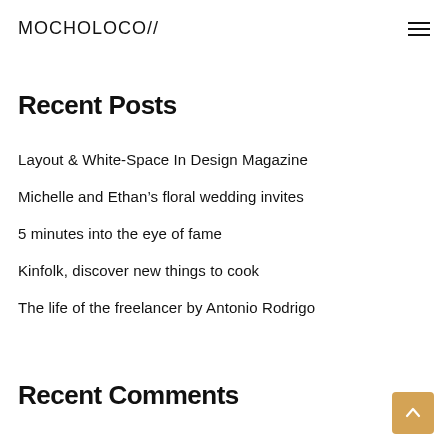MOCHOLOCO//
Recent Posts
Layout & White-Space In Design Magazine
Michelle and Ethan’s floral wedding invites
5 minutes into the eye of fame
Kinfolk, discover new things to cook
The life of the freelancer by Antonio Rodrigo
Recent Comments